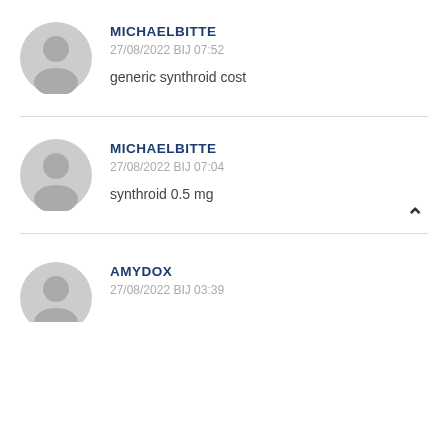[Figure (illustration): Grey user avatar silhouette icon for commenter MICHAELBITTE (first comment)]
MICHAELBITTE
27/08/2022 BIJ 07:52
generic synthroid cost
[Figure (illustration): Grey user avatar silhouette icon for commenter MICHAELBITTE (second comment)]
MICHAELBITTE
27/08/2022 BIJ 07:04
synthroid 0.5 mg
[Figure (illustration): Grey user avatar silhouette icon for commenter AMYDOX (partially visible)]
AMYDOX
27/08/2022 BIJ 03:39